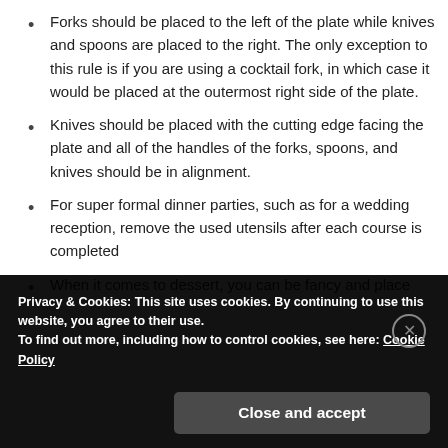Forks should be placed to the left of the plate while knives and spoons are placed to the right. The only exception to this rule is if you are using a cocktail fork, in which case it would be placed at the outermost right side of the plate.
Knives should be placed with the cutting edge facing the plate and all of the handles of the forks, spoons, and knives should be in alignment.
For super formal dinner parties, such as for a wedding reception, remove the used utensils after each course is completed
When it comes to dessert, you can be fancy and place
Privacy & Cookies: This site uses cookies. By continuing to use this website, you agree to their use.
To find out more, including how to control cookies, see here: Cookie Policy